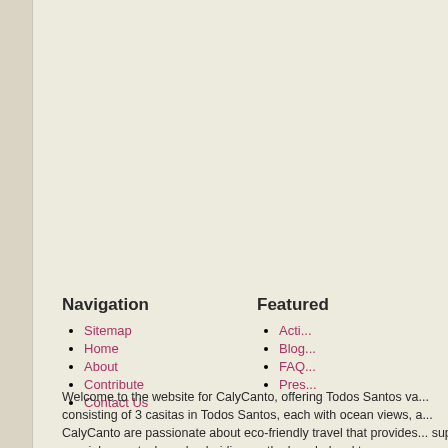Navigation
Featured
Sitemap
Home
About
Contribute
Contact Us
Acti...
Blog...
FAQ...
Pres...
Welcome to the website for CalyCanto, offering Todos Santos va... consisting of 3 casitas in Todos Santos, each with ocean views, a... CalyCanto are passionate about eco-friendly travel that provides... super special sunsets, horseback riding on the beach, local tours... (approaching zero) while doing business. Environmentalism, sus... ...